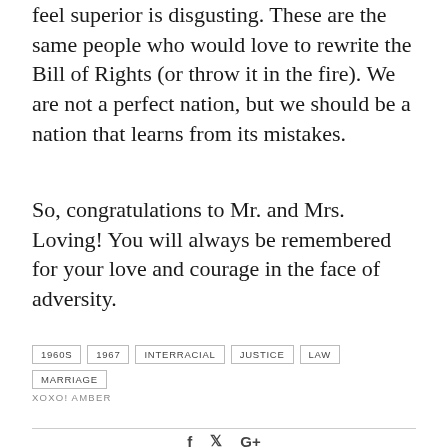feel superior is disgusting. These are the same people who would love to rewrite the Bill of Rights (or throw it in the fire). We are not a perfect nation, but we should be a nation that learns from its mistakes.
So, congratulations to Mr. and Mrs. Loving! You will always be remembered for your love and courage in the face of adversity.
1960S  1967  INTERRACIAL  JUSTICE  LAW  MARRIAGE
XOXO! AMBER
f  ↯  G+